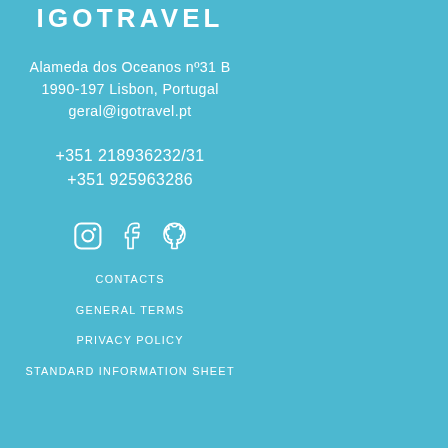IGOTRAVEL
Alameda dos Oceanos nº31 B
1990-197 Lisbon, Portugal
geral@igotravel.pt
+351 218936232/31
+351 925963286
[Figure (infographic): Social media icons: Instagram, Facebook, Pinterest]
CONTACTS
GENERAL TERMS
PRIVACY POLICY
STANDARD INFORMATION SHEET